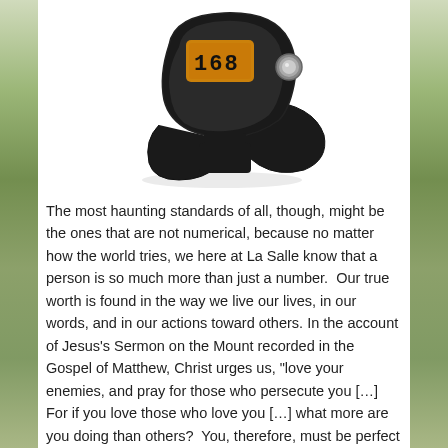[Figure (photo): A black fitness tracker / smart band with an orange-amber rectangular display showing '168' in digital numerals, and a round button on the side, photographed on a white background.]
The most haunting standards of all, though, might be the ones that are not numerical, because no matter how the world tries, we here at La Salle know that a person is so much more than just a number.  Our true worth is found in the way we live our lives, in our words, and in our actions toward others. In the account of Jesus's Sermon on the Mount recorded in the Gospel of Matthew, Christ urges us, "love your enemies, and pray for those who persecute you […] For if you love those who love you […] what more are you doing than others?  You, therefore, must be perfect as your heavenly Father is perfect."